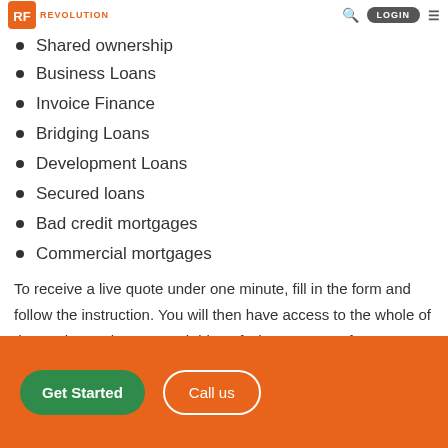Revolution Finance Brokers — LOGIN
Shared ownership
Business Loans
Invoice Finance
Bridging Loans
Development Loans
Secured loans
Bad credit mortgages
Commercial mortgages
To receive a live quote under one minute, fill in the form and follow the instruction. You will then have access to the whole of the market and get a rough idea of what to expect from us.
Get Started  Call us